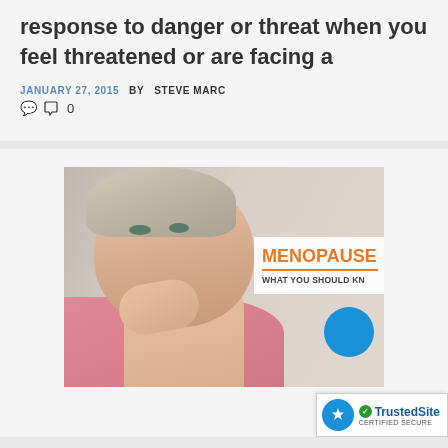response to danger or threat when you feel threatened or are facing a
JANUARY 27, 2015  BY STEVE MARC
0
[Figure (photo): Middle-aged woman resting her chin on her hand, next to text overlay reading MENOPAUSE WHAT YOU SHOULD KN[OW]]
[Figure (logo): TrustedSite CERTIFIED SECURE badge with blue circle icon and green checkmark]